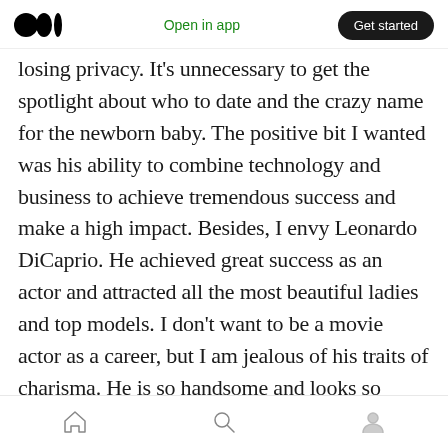Medium logo | Open in app | Get started
losing privacy. It's unnecessary to get the spotlight about who to date and the crazy name for the newborn baby. The positive bit I wanted was his ability to combine technology and business to achieve tremendous success and make a high impact. Besides, I envy Leonardo DiCaprio. He achieved great success as an actor and attracted all the most beautiful ladies and top models. I don't want to be a movie actor as a career, but I am jealous of his traits of charisma. He is so handsome and looks so confident that no lady could resist him. Even Jeff Bezo's girlfriend would be attracted to him naturally. I would love
Home | Search | Profile